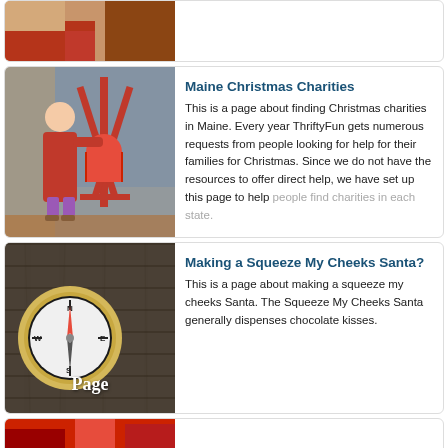[Figure (photo): Partial top card showing a child or person in red clothing on a red structure, cropped]
[Figure (photo): Child in red coat reaching up to a red Salvation Army kettle donation stand]
Maine Christmas Charities
This is a page about finding Christmas charities in Maine. Every year ThriftyFun gets numerous requests from people looking for help for their families for Christmas. Since we do not have the resources to offer direct help, we have set up this page to help people find charities in each state.
[Figure (photo): Compass on dark wood surface with the word Page overlaid in white text]
Making a Squeeze My Cheeks Santa?
This is a page about making a squeeze my cheeks Santa. The Squeeze My Cheeks Santa generally dispenses chocolate kisses.
[Figure (photo): Partial bottom card showing red objects, cropped at bottom edge]